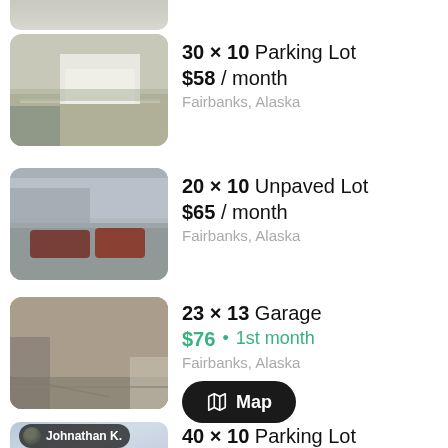[Figure (screenshot): Partial thumbnail of a parking lot listing at top of page, clipped]
[Figure (photo): Photo of a property with a driveway and white building, labeled Johnathan K.]
30 × 10 Parking Lot
$58 / month
Fairbanks, Alaska
[Figure (photo): Photo of an unpaved parking lot with cars, labeled Daniel J.]
20 × 10 Unpaved Lot
$65 / month
Fairbanks, Alaska
[Figure (photo): Photo of a garage interior, labeled Wayne S.]
23 × 13 Garage
$76 • 1st month
Fairbanks, Alaska
[Figure (screenshot): Map button UI element]
[Figure (photo): Partial thumbnail of a listing labeled Johnathan K., clipped at bottom]
40 × 10 Parking Lot